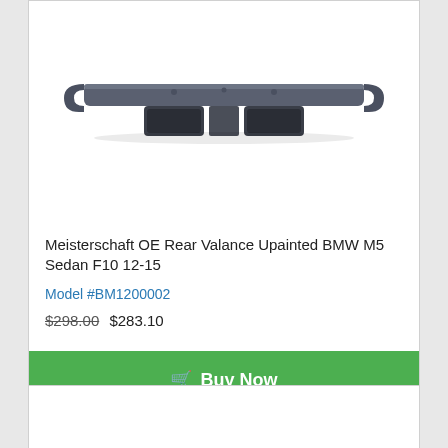[Figure (photo): Meisterschaft OE Rear Valance unpainted BMW M5 Sedan F10, shown as a dark gray/charcoal plastic rear bumper diffuser with two large exhaust cutouts and curved ends]
Meisterschaft OE Rear Valance Upainted BMW M5 Sedan F10 12-15
Model #BM1200002
$298.00  $283.10
Buy Now